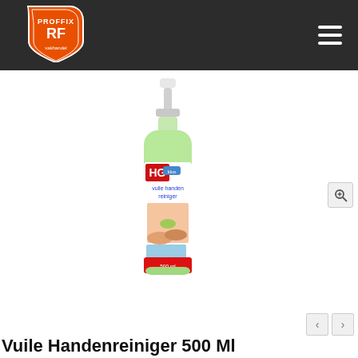[Figure (logo): PROFFIX vakhandel shield logo in orange and white on dark background header, with hamburger menu icon on the right]
[Figure (photo): HG vuile handen reiniger (dirty hands cleaner) 500ml pump bottle with green liquid, displaying label with HG branding and image of hands being cleaned]
Vuile Handenreiniger 500 Ml